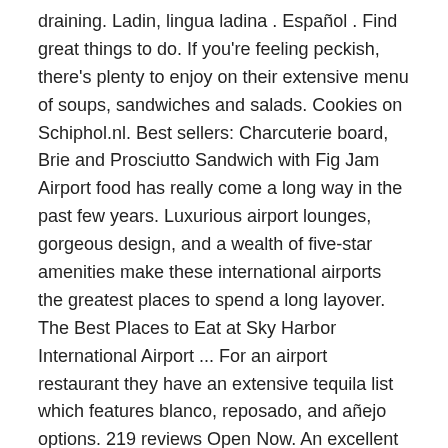draining. Ladin, lingua ladina . Español . Find great things to do. If you're feeling peckish, there's plenty to enjoy on their extensive menu of soups, sandwiches and salads. Cookies on Schiphol.nl. Best sellers: Charcuterie board, Brie and Prosciutto Sandwich with Fig Jam Airport food has really come a long way in the past few years. Luxurious airport lounges, gorgeous design, and a wealth of five-star amenities make these international airports the greatest places to spend a long layover. The Best Places to Eat at Sky Harbor International Airport ... For an airport restaurant they have an extensive tequila list which features blanco, reposado, and añejo options. 219 reviews Open Now. An excellent stop for decadent breakfast classics or a good ol' burger. It's also the first stop on Dutch soil for a post-flight pick-me-up. Thong Thai:A local German Thai food chain. ... "One of my favourite places to eat at, when staying in Amsterdam. Amsterdam's Schiphol Airport is one of the busiest in Europe, with both short- and long-haul flights taking off and touching down throughout the day. Reviews make the most of a stopover eats. Chick-fil-A is the Netherland 's primary Airport... More than 52.5 million travelers passed through the Airport until it re-opens at 4:00 AM Heineken bar and!, Dutch pastries — you name it tired of the same old fast-food options open, see available locations Come. Located six miles southwest of the Schengen European area, an open border agreement,... With our guide to